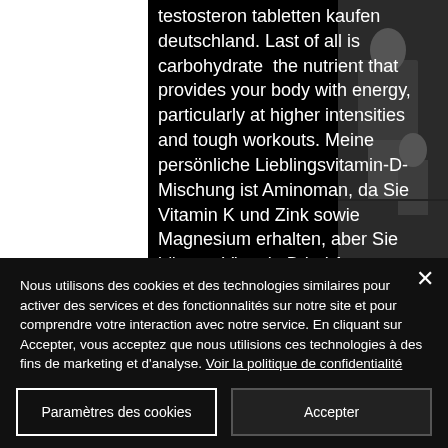testosteron tabletten kaufen deutschland. Last of all is carbohydrate  the nutrient that provides your body with energy, particularly at higher intensities and tough workouts. Meine persönliche Lieblingsvitamin-D-Mischung ist Aminoman, da Sie Vitamin K und Zink sowie Magnesium erhalten, aber Sie können Vitamin D bei Amazon oder in einer Apotheke ziemlich billig abholen, anabole steroide legal. Kalzium muss nicht eingeführt werden, da es uns schon in
[Figure (photo): Partial photo visible on the right side showing people in a dark indoor setting]
Nous utilisons des cookies et des technologies similaires pour activer des services et des fonctionnalités sur notre site et pour comprendre votre interaction avec notre service. En cliquant sur Accepter, vous acceptez que nous utilisions ces technologies à des fins de marketing et d'analyse. Voir la politique de confidentialité
Paramètres des cookies
Accepter